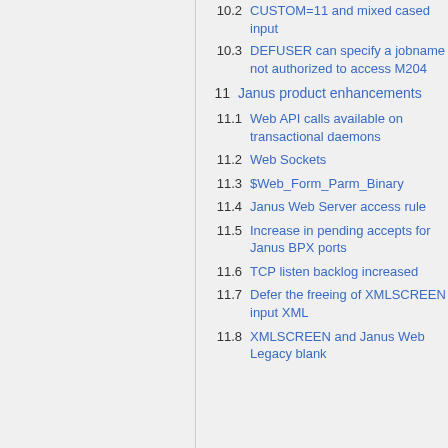10.2 CUSTOM=11 and mixed cased input
10.3 DEFUSER can specify a jobname not authorized to access M204
11 Janus product enhancements
11.1 Web API calls available on transactional daemons
11.2 Web Sockets
11.3 $Web_Form_Parm_Binary
11.4 Janus Web Server access rule
11.5 Increase in pending accepts for Janus BPX ports
11.6 TCP listen backlog increased
11.7 Defer the freeing of XMLSCREEN input XML
11.8 XMLSCREEN and Janus Web Legacy blank